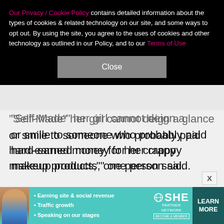Our Privacy / Cookie Policy contains detailed information about the types of cookies & related technology on our site, and some ways to opt out. By using the site, you agree to the uses of cookies and other technology as outlined in our Policy, and to our Terms of Use
Close
Self-Made" her girl cannot deign a glance, nod her, or smile to someone who probably paid hard-earned money for her crappy makeup products," one person said.
One noted, "She didn't even look at her or acknowledge her…" Added another, "no hug, a smile or even a word? naaaaaa."
Page Six quoted another fan who sarcastically
[Figure (infographic): Advertisement banner for SHE Partner Network with teal background, woman photo, bullet points about earning site & social revenue, traffic growth, speaking on our stages, SHE logo, and Learn More button]